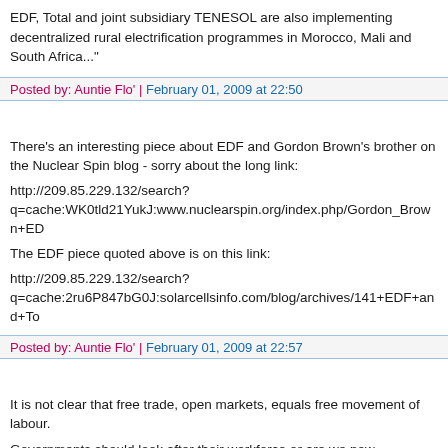EDF, Total and joint subsidiary TENESOL are also implementing decentralized rural electrification programmes in Morocco, Mali and South Africa..."
Posted by: Auntie Flo' | February 01, 2009 at 22:50
There's an interesting piece about EDF and Gordon Brown's brother on the Nuclear Spin blog - sorry about the long link:
http://209.85.229.132/search?q=cache:WK0tld21YukJ:www.nuclearspin.org/index.php/Gordon_Brown+ED
The EDF piece quoted above is on this link:
http://209.85.229.132/search?q=cache:2ru6P847bG0J:solarcellsinfo.com/blog/archives/141+EDF+and+To
Posted by: Auntie Flo' | February 01, 2009 at 22:57
It is not clear that free trade, open markets, equals free movement of labour.
Governments should look after their workforce or are we now acknowledging our governemnt is based in Brussles and that Westminster is irrelevant?
Posted by: john broughton | February 01, 2009 at 23:19